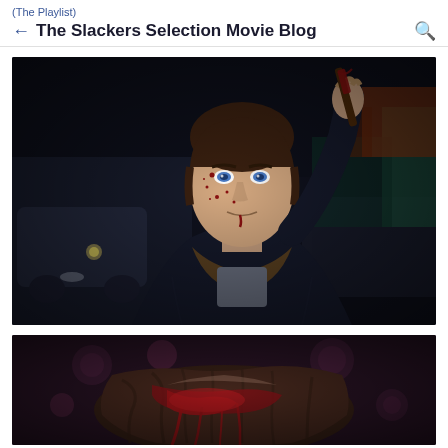(The Playlist)
← The Slackers Selection Movie Blog 🔍
[Figure (photo): A young man with blood on his face holding a bloody weapon raised above his head, wearing a dark jacket with fur collar, looking intensely at camera, dark nighttime setting with cars in background.]
[Figure (photo): Close-up of a person's head covered in blood, hair matted with red, with a floral wallpaper background.]